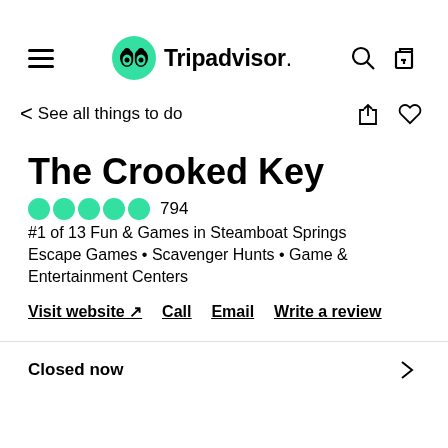Tripadvisor
< See all things to do
The Crooked Key
794 reviews, 5 bubbles rating
#1 of 13 Fun & Games in Steamboat Springs
Escape Games • Scavenger Hunts • Game & Entertainment Centers
Visit website ↗   Call   Email   Write a review
Closed now